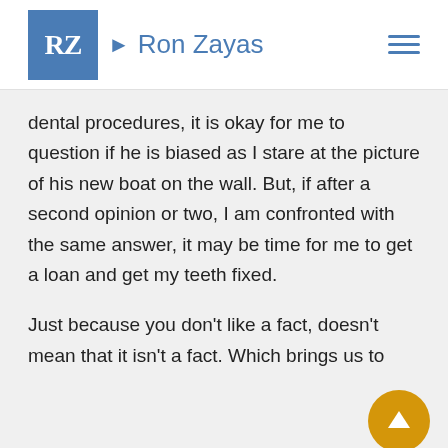RZ Ron Zayas
dental procedures, it is okay for me to question if he is biased as I stare at the picture of his new boat on the wall. But, if after a second opinion or two, I am confronted with the same answer, it may be time for me to get a loan and get my teeth fixed.
Just because you don't like a fact, doesn't mean that it isn't a fact. Which brings us to